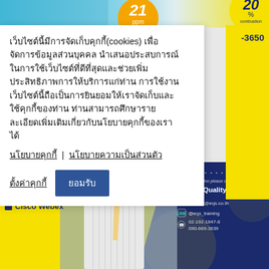[Figure (screenshot): Top banner with 21 ppm orange circle badge and 20% yellow badge on cyan/yellow gradient background]
เว็บไซต์นี้มีการจัดเก็บคุกกี้(cookies) เพื่อจัดการข้อมูลส่วนบุคคล นำเสนอประสบการณ์ในการใช้เว็บไซต์ที่ดีที่สุดและช่วยเพิ่มประสิทธิภาพการให้บริการแก่ท่าน การใช้งานเว็บไซต์นี้ถือเป็นการยินยอมให้เราจัดเก็บและใช้คุกกี้ของท่าน ท่านสามารถศึกษารายละเอียดเพิ่มเติมเกี่ยวกับนโยบายคุกกี้ของเราได้
นโยบายคุกกี้  |  นโยบายความเป็นส่วนตัว
ตั้งค่าคุกกี้   ยอมรับ
-3650
[Figure (photo): Training advertisement banner with dark navy background, yellow accent, man in striped shirt and tie, platform list (Zoom, Ms Team, Cisco Webex), Energy Quality Service Co., Ltd. contact info]